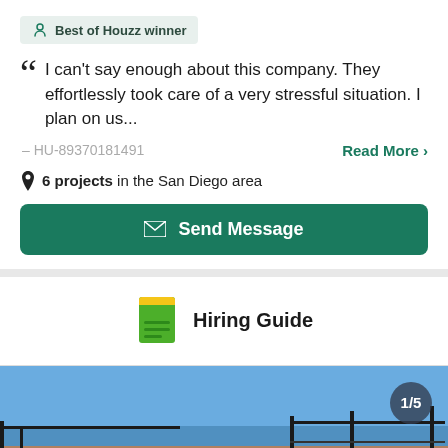Best of Houzz winner
I can't say enough about this company. They effortlessly took care of a very stressful situation. I plan on us...
– HU-89370181491
Read More >
6 projects in the San Diego area
Send Message
Hiring Guide
[Figure (photo): Outdoor photo showing a rooftop or deck structure with fence/railing against a blue sky, labeled 1/5]